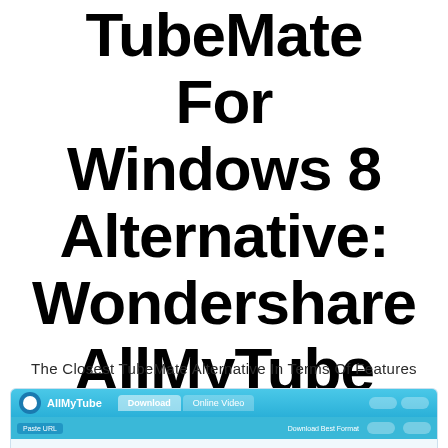TubeMate For Windows 8 Alternative: Wondershare AllMyTube
The Closest TubeMate Alternative In Terms Of Features
[Figure (screenshot): Screenshot of Wondershare AllMyTube application window showing a blue interface with downloading panel]